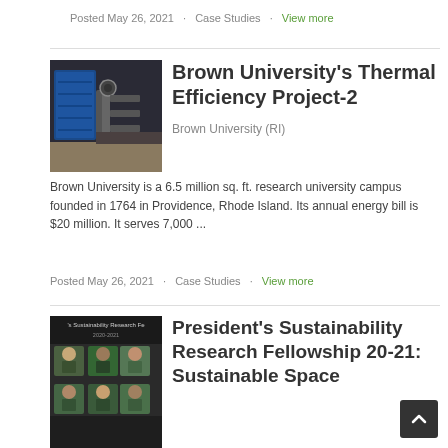Posted May 26, 2021   Case Studies   View more
[Figure (photo): Industrial thermal equipment with blue insulation panels and pipes]
Brown University's Thermal Efficiency Project-2
Brown University (RI)
Brown University is a 6.5 million sq. ft. research university campus founded in 1764 in Providence, Rhode Island. Its annual energy bill is $20 million. It serves 7,000 ...
Posted May 26, 2021   Case Studies   View more
[Figure (photo): President's Sustainability Research Fellowship 20-21 cover image with group photo]
President's Sustainability Research Fellowship 20-21: Sustainable Space